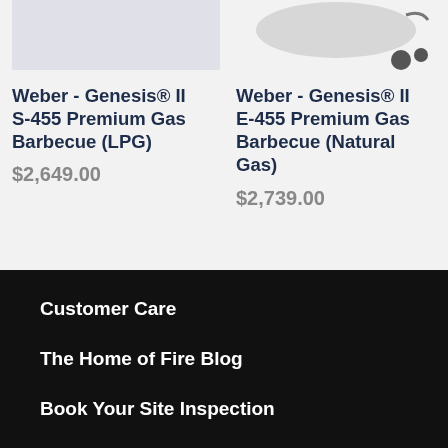[Figure (photo): Product image of Weber Genesis II S-455 Premium Gas Barbecue (light gray background)]
[Figure (photo): Product image of Weber Genesis II E-455 Premium Gas Barbecue (natural gas), showing top portion of grill with wheels]
Weber - Genesis® II S-455 Premium Gas Barbecue (LPG)
$2,649.00
Weber - Genesis® II E-455 Premium Gas Barbecue (Natural Gas)
$2,739.00
Customer Care
The Home of Fire Blog
Book Your Site Inspection